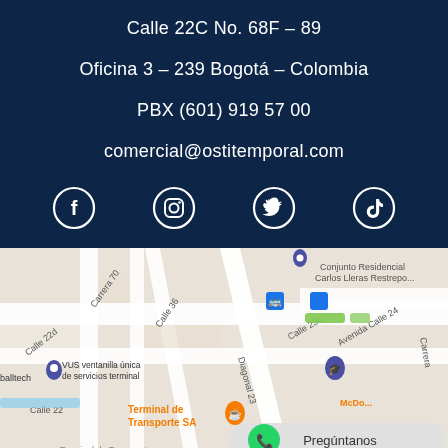Calle 22C No. 68F – 89
Oficina 3 – 239 Bogotá – Colombia
PBX (601) 919 57 00
comercial@ostitemporal.com
[Figure (infographic): Social media icons: Facebook, Instagram, Twitter, TikTok — white circle outline icons on dark navy background]
[Figure (map): Google Maps screenshot showing the area around Calle 22C No. 68F-89, Bogotá, Colombia. Visible streets include Calle 22d, Calle 36, Carrera 70, Diagonal 23, Calle 23c, Avenida Calle 24. Landmarks: VUS ventanilla única de servicios terminal, Terminal de Transporte SA, McDonald's, Conjunto Residencial Carlos Lleras Restrepo. WhatsApp Pregúntanos button visible.]